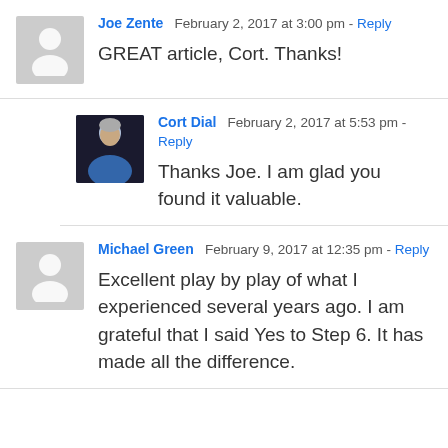Joe Zente  February 2, 2017 at 3:00 pm - Reply
GREAT article, Cort. Thanks!
Cort Dial  February 2, 2017 at 5:53 pm - Reply
Thanks Joe. I am glad you found it valuable.
Michael Green  February 9, 2017 at 12:35 pm - Reply
Excellent play by play of what I experienced several years ago. I am grateful that I said Yes to Step 6. It has made all the difference.